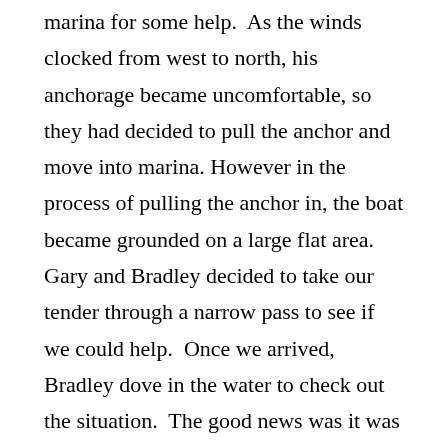marina for some help.  As the winds clocked from west to north, his anchorage became uncomfortable, so they had decided to pull the anchor and move into marina. However in the process of pulling the anchor in, the boat became grounded on a large flat area. Gary and Bradley decided to take our tender through a narrow pass to see if we could help.  Once we arrived, Bradley dove in the water to check out the situation.  The good news was it was not too bad and just to his port the water got deeper.  Simply by letting him know where the deeper water was, he was able to gently turn his rudder and put his boat in reverse.  With each wave that rolled S by W, he